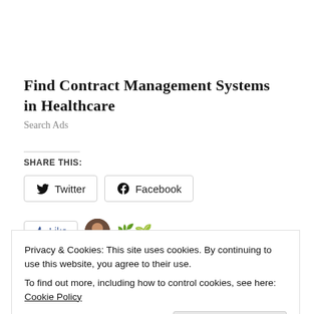Find Contract Management Systems in Healthcare
Search Ads
SHARE THIS:
[Figure (screenshot): Social share buttons: Twitter and Facebook buttons with icons]
[Figure (screenshot): Like button and avatar/emoji row]
Privacy & Cookies: This site uses cookies. By continuing to use this website, you agree to their use.
To find out more, including how to control cookies, see here: Cookie Policy
Close and accept
Textiles